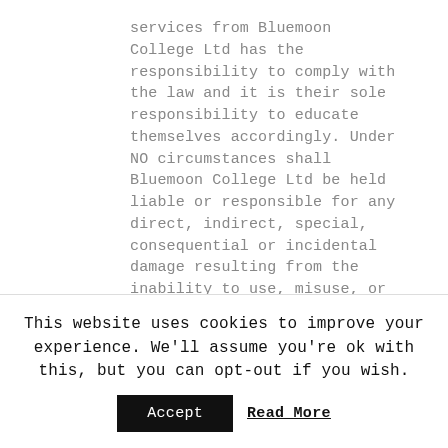services from Bluemoon College Ltd has the responsibility to comply with the law and it is their sole responsibility to educate themselves accordingly. Under NO circumstances shall Bluemoon College Ltd be held liable or responsible for any direct, indirect, special, consequential or incidental damage resulting from the inability to use, misuse, or use any investigatory method taught by Bluemoon College Ltd. By submitting an order for a course, the purchaser and/or end user represents, and accepts, that he or she will use the information taught in a responsible
This website uses cookies to improve your experience. We'll assume you're ok with this, but you can opt-out if you wish.
Accept   Read More